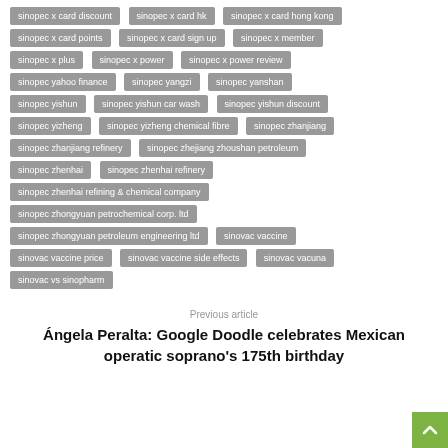sinopec x card discount
sinopec x card hk
sinopec x card hong kong
sinopec x card points
sinopec x card sign up
sinopec x member
sinopec x plus
sinopec x power
sinopec x power review
sinopec yahoo finance
sinopec yangzi
sinopec yanshan
sinopec yishun
sinopec yishun car wash
sinopec yishun discount
sinopec yizheng
sinopec yizheng chemical fibre
sinopec zhanjiang
sinopec zhanjiang refinery
sinopec zhejiang zhoushan petroleum
sinopec zhenhai
sinopec zhenhai refinery
sinopec zhenhai refining & chemical company
sinopec zhongyuan petrochemical corp. ltd
sinopec zhongyuan petroleum engineering ltd
sinovac vaccine
sinovac vaccine price
sinovac vaccine side effects
sinovac vacuna
sinovac vs sinopharm
Previous article
Ángela Peralta: Google Doodle celebrates Mexican operatic soprano's 175th birthday